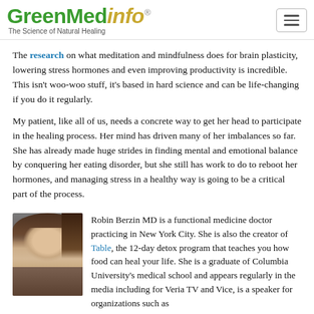GreenMedInfo — The Science of Natural Healing
The research on what meditation and mindfulness does for brain plasticity, lowering stress hormones and even improving productivity is incredible. This isn't woo-woo stuff, it's based in hard science and can be life-changing if you do it regularly.
My patient, like all of us, needs a concrete way to get her head to participate in the healing process. Her mind has driven many of her imbalances so far. She has already made huge strides in finding mental and emotional balance by conquering her eating disorder, but she still has work to do to reboot her hormones, and managing stress in a healthy way is going to be a critical part of the process.
Robin Berzin MD is a functional medicine doctor practicing in New York City. She is also the creator of Table, the 12-day detox program that teaches you how food can heal your life. She is a graduate of Columbia University's medical school and appears regularly in the media including for Veria TV and Vice, is a speaker for organizations such as